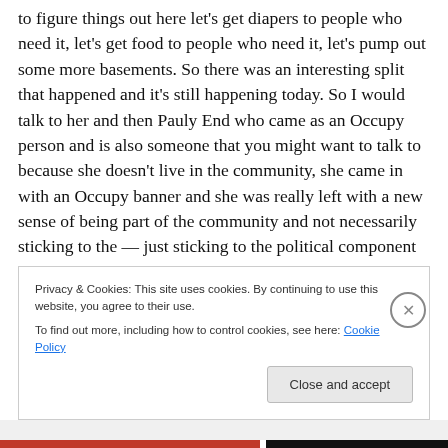to figure things out here let's get diapers to people who need it, let's get food to people who need it, let's pump out some more basements. So there was an interesting split that happened and it's still happening today. So I would talk to her and then Pauly End who came as an Occupy person and is also someone that you might want to talk to because she doesn't live in the community, she came in with an Occupy banner and she was really left with a new sense of being part of the community and not necessarily sticking to the — just sticking to the political component of the Occupy movement and really figuring out that a
Privacy & Cookies: This site uses cookies. By continuing to use this website, you agree to their use.
To find out more, including how to control cookies, see here: Cookie Policy